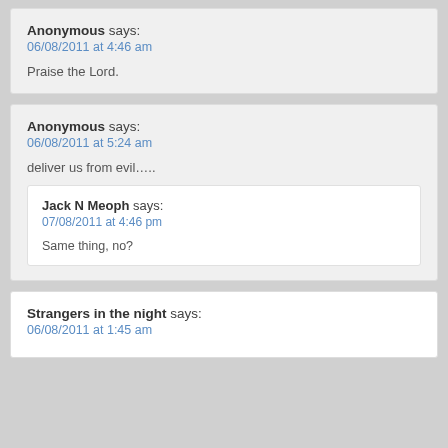Anonymous says: 06/08/2011 at 4:46 am — Praise the Lord.
Anonymous says: 06/08/2011 at 5:24 am — deliver us from evil….. Reply: Jack N Meoph says: 07/08/2011 at 4:46 pm — Same thing, no?
Strangers in the night says: 06/08/2011 at 1:45 am